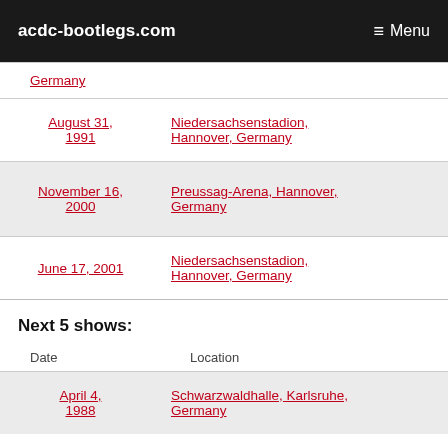acdc-bootlegs.com  Menu
| Date | Location |
| --- | --- |
| (partial) Germany |  |
| August 31, 1991 | Niedersachsenstadion, Hannover, Germany |
| November 16, 2000 | Preussag-Arena, Hannover, Germany |
| June 17, 2001 | Niedersachsenstadion, Hannover, Germany |
Next 5 shows:
| Date | Location |
| --- | --- |
| April 4, 1988 | Schwarzwaldhalle, Karlsruhe, Germany |